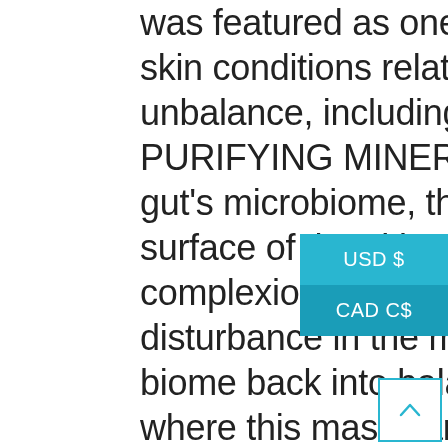was featured as one of her faves for treating skin conditions related to the skin microbiome unbalance, including acne. NUVSIO PURIFYING MINERAL MASK Similar to our gut's microbiome, there are microbes on the surface of the skin that are beneficial to our complexion. Acne can often be caused by a disturbance in the microbiome, so bringing the biome back into balance is key and that's where this mask can help. U twice a week as a proper mask after cleansing, or as a nightly cleanser itself. View the video below: Read the full article here: thesocialctv Wishing you a healthy, glowing skin, ...